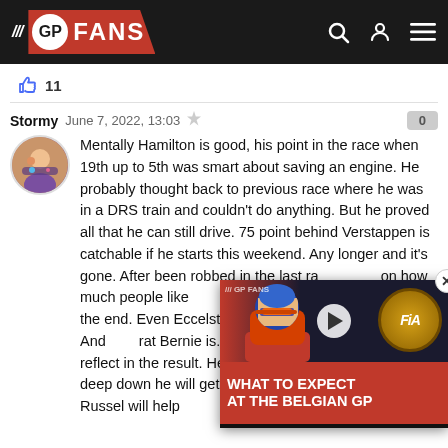GP FANS
👍 11
Stormy  June 7, 2022, 13:03  🚩  0
Mentally Hamilton is good, his point in the race when 19th up to 5th was smart about saving an engine. He probably thought back to previous race where he was in a DRS train and couldn't do anything. But he proved all that he can still drive. 75 point behind Verstappen is catchable if he starts this weekend. Any longer and it's gone. After been robbed in the last ra... on how much people like... cheating, which the FIA h... the end. Even Eccelston c... Schumacher record. And... rat Bernie is. My point is he had 3 months to reflect in the result. He came back and I have a feeling deep down he will get #8 if not next year the year after. Russel will help
[Figure (screenshot): Video overlay thumbnail: 'WHAT TO EXPECT AT THE BELGIAN GP' with a Formula 1 driver and FIA logo]